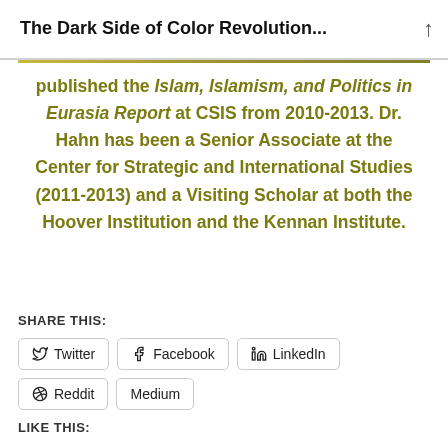The Dark Side of Color Revolution...
published the Islam, Islamism, and Politics in Eurasia Report at CSIS from 2010-2013. Dr. Hahn has been a Senior Associate at the Center for Strategic and International Studies (2011-2013) and a Visiting Scholar at both the Hoover Institution and the Kennan Institute.
SHARE THIS:
Twitter  Facebook  LinkedIn  Reddit  Medium
LIKE THIS: